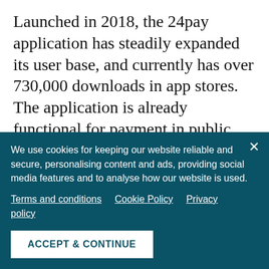Launched in 2018, the 24pay application has steadily expanded its user base, and currently has over 730,000 downloads in app stores. The application is already functional for payment in public transport in 13 important cities in the country: Bucharest, Iasi, Cluj-Napoca, Timisoara, Brasov, Arad, Ramnicu Valcea, Sibiu, Targu Jiu, Piatra Neamt, Sacele, Resita and Ploiesti.
We use cookies for keeping our website reliable and secure, personalising content and ads, providing social media features and to analyse how our website is used.
Terms and conditions   Cookie Policy   Privacy policy
ACCEPT & CONTINUE